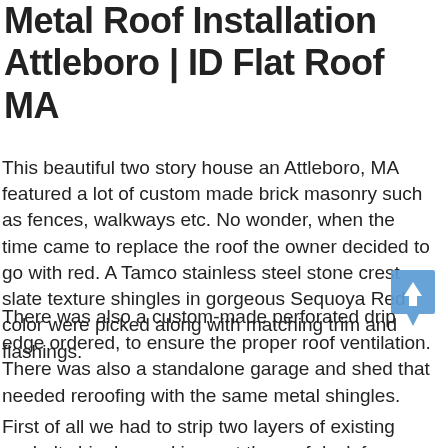Metal Roof Installation Attleboro | ID Flat Roof MA
This beautiful two story house an Attleboro, MA featured a lot of custom made brick masonry such as fences, walkways etc. No wonder, when the time came to replace the roof the owner decided to go with red. A Tamco stainless steel stone crest slate texture shingles in gorgeous Sequoya Red color were picked along with matching trim and flashings.
[Figure (illustration): Blue upward arrow scroll-to-top button icon]
There was also a custom-made perforated drip edge ordered, to ensure the proper roof ventilation. There was also a standalone garage and shed that needed reroofing with the same metal shingles.
First of all we had to strip two layers of existing asphalt shingles and inspect the roof deck for any rot damage